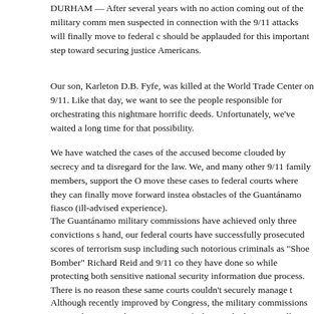DURHAM — After several years with no action coming out of the military comm men suspected in connection with the 9/11 attacks will finally move to federal c should be applauded for this important step toward securing justice Americans.
Our son, Karleton D.B. Fyfe, was killed at the World Trade Center on 9/11. Lik that day, we want to see the people responsible for orchestrating this nightmare horrific deeds. Unfortunately, we've waited a long time for that possibility.
We have watched the cases of the accused become clouded by secrecy and ta disregard for the law. We, and many other 9/11 family members, support the O move these cases to federal courts where they can finally move forward instea obstacles of the Guantánamo fiasco (ill-advised experience).
The Guantánamo military commissions have achieved only three convictions s hand, our federal courts have successfully prosecuted scores of terrorism susp including such notorious criminals as "Shoe Bomber" Richard Reid and 9/11 co they have done so while protecting both sensitive national security information due process. There is no reason these same courts couldn't securely manage t
Although recently improved by Congress, the military commissions cannot she marginal improvements of a besmirched system will not be recognized by the w these cases out of the military commissions system and into federal courts, all confidence in their outcomes. Trying these cases on U.S. soil will be a powerfu culture.
There are also simple logistical benefits to transferring the cases. The military c courts on an island in the Caribbean, where most Americans have not had the these trials to federal courts on American soil will make it easier for other 9/11 f
Our prison system is fully capable of securely holding convicted terrorists: eve